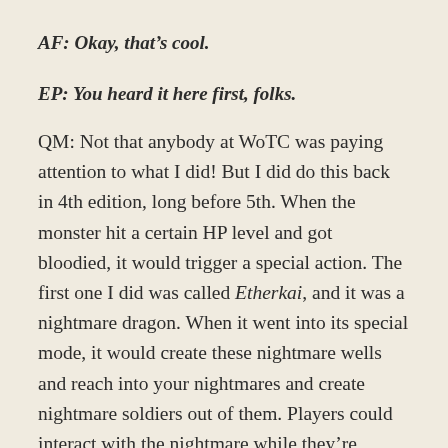AF: Okay, that's cool.
EP: You heard it here first, folks.
QM: Not that anybody at WoTC was paying attention to what I did! But I did do this back in 4th edition, long before 5th. When the monster hit a certain HP level and got bloodied, it would trigger a special action. The first one I did was called Etherkai, and it was a nightmare dragon. When it went into its special mode, it would create these nightmare wells and reach into your nightmares and create nightmare soldiers out of them. Players could interact with the nightmare while they're fighting. And there are different kinds of skill challenges and all this